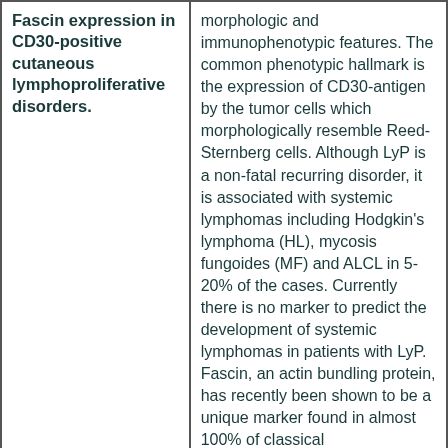morphologic and immunophenotypic features. The common phenotypic hallmark is the expression of CD30-antigen by the tumor cells which morphologically resemble Reed-Sternberg cells. Although LyP is a non-fatal recurring disorder, it is associated with systemic lymphomas including Hodgkin's lymphoma (HL), mycosis fungoides (MF) and ALCL in 5-20% of the cases. Currently there is no marker to predict the development of systemic lymphomas in patients with LyP. Fascin, an actin bundling protein, has recently been shown to be a unique marker found in almost 100% of classical
Fascin expression in CD30-positive cutaneous lymphoproliferative disorders.